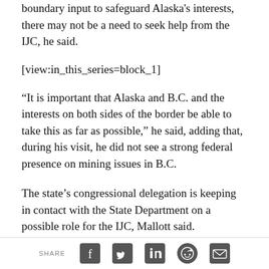boundary input to safeguard Alaska's interests, there may not be a need to seek help from the IJC, he said.
[view:in_this_series=block_1]
“It is important that Alaska and B.C. and the interests on both sides of the border be able to take this as far as possible,” he said, adding that, during his visit, he did not see a strong federal presence on mining issues in B.C.
The state’s congressional delegation is keeping in contact with the State Department on a possible role for the IJC, Mallott said.
Last year, Senator Lisa Murkowski, former senator
SHARE